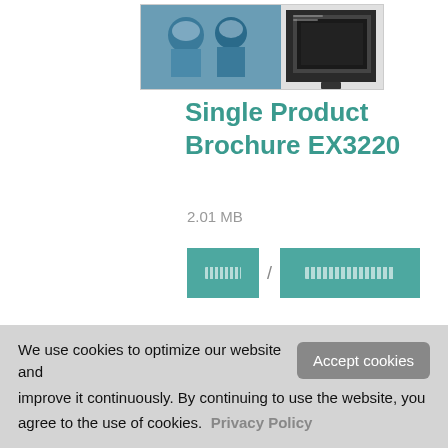[Figure (screenshot): Thumbnail image of the EX3220 product brochure showing surgical/medical scene on the left and a monitor on the right]
Single Product Brochure EX3220
2.01 MB
[Figure (screenshot): Preview thumbnail of a product brochure with Eizo logo, model EX3221, showing a monitor and medical image, with Chinese text]
We use cookies to optimize our website and improve it continuously. By continuing to use the website, you agree to the use of cookies. Privacy Policy